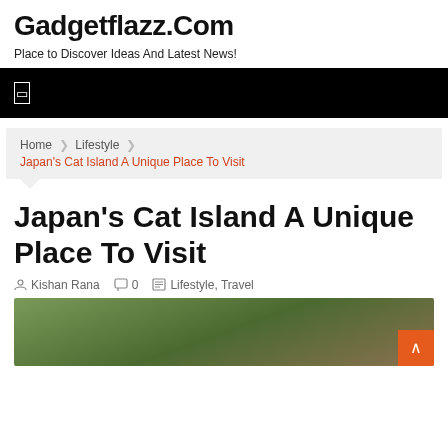Gadgetflazz.Com
Place to Discover Ideas And Latest News!
[Figure (other): Black navigation bar with white menu icon]
Home  ❯  Lifestyle  ❯
Japan's Cat Island A Unique Place To Visit
Japan's Cat Island A Unique Place To Visit
Kishan Rana  0  Lifestyle, Travel
[Figure (photo): Outdoor photo showing green foliage and a cat, partially visible at bottom of page]